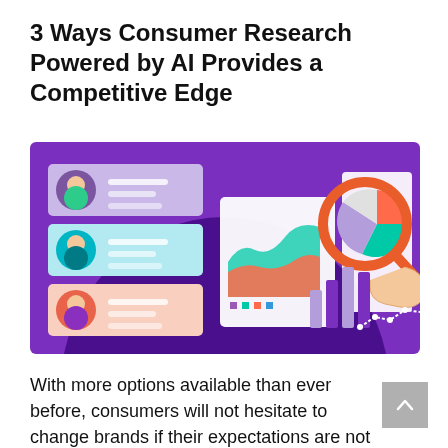3 Ways Consumer Research Powered by AI Provides a Competitive Edge
[Figure (illustration): Colorful illustration on a purple background showing consumer research concepts: three user profile cards on the left (person with glasses, person with headset, person with headset in red), a dashboard with area chart in the middle, and a hand holding a magnifying glass over a pie chart with bar charts on the right.]
With more options available than ever before, consumers will not hesitate to change brands if their expectations are not